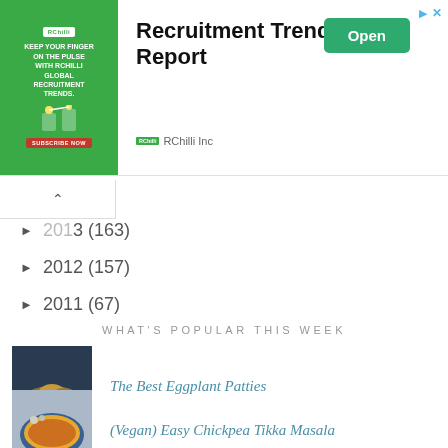[Figure (infographic): Advertisement banner for RChilli Inc featuring 'Recruitment Trends Report' with a green Open button and ad controls (play and X icons). Left side shows a green graphic block with RChilli branding.]
2013 (163)
2012 (157)
2011 (67)
WHAT'S POPULAR THIS WEEK
[Figure (photo): Photo of stacked eggplant patties with sauce on a dark background]
The Best Eggplant Patties
[Figure (photo): Photo of chickpea tikka masala curry with rice in a bowl]
(Vegan) Easy Chickpea Tikka Masala